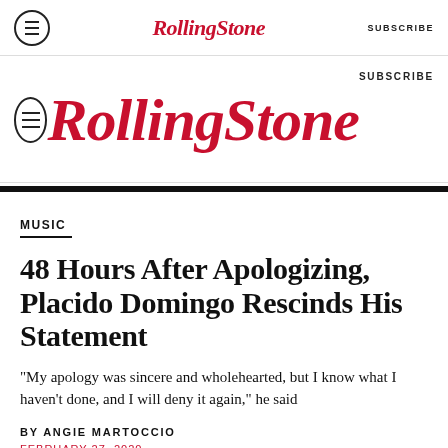Rolling Stone  SUBSCRIBE
Rolling Stone  SUBSCRIBE
MUSIC
48 Hours After Apologizing, Placido Domingo Rescinds His Statement
“My apology was sincere and wholehearted, but I know what I haven’t done, and I will deny it again,” he said
BY ANGIE MARTOCCIO
FEBRUARY 27, 2020